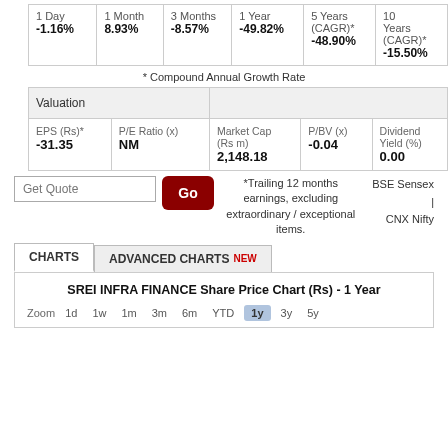| 1 Day | 1 Month | 3 Months | 1 Year | 5 Years (CAGR)* | 10 Years (CAGR)* |
| --- | --- | --- | --- | --- | --- |
| -1.16% | 8.93% | -8.57% | -49.82% | -48.90% | -15.50% |
* Compound Annual Growth Rate
| EPS (Rs)* | P/E Ratio (x) | Market Cap (Rs m) | P/BV (x) | Dividend Yield (%) |
| --- | --- | --- | --- | --- |
| -31.35 | NM | 2,148.18 | -0.04 | 0.00 |
*Trailing 12 months earnings, excluding extraordinary / exceptional items.
BSE Sensex | CNX Nifty
SREI INFRA FINANCE Share Price Chart (Rs) - 1 Year
Zoom 1d 1w 1m 3m 6m YTD 1y 3y 5y